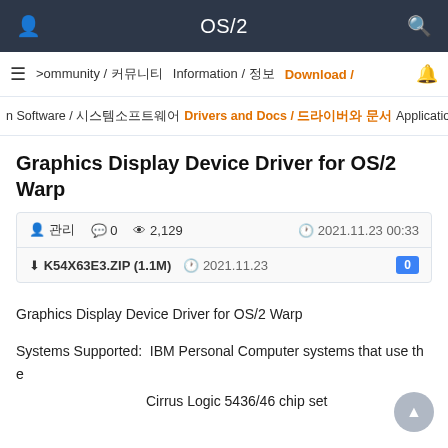OS/2
Community / 커뮤니티   Information / 정보   Download /
n Software / 시스템소프트웨어   Drivers and Docs / 드라이버와 문서   Application
Graphics Display Device Driver for OS/2 Warp
관리자  0  2,129  2021.11.23 00:33
K54X63E3.ZIP (1.1M)  2021.11.23  0
Graphics Display Device Driver for OS/2 Warp
Systems Supported:  IBM Personal Computer systems that use the
Cirrus Logic 5436/46 chip set